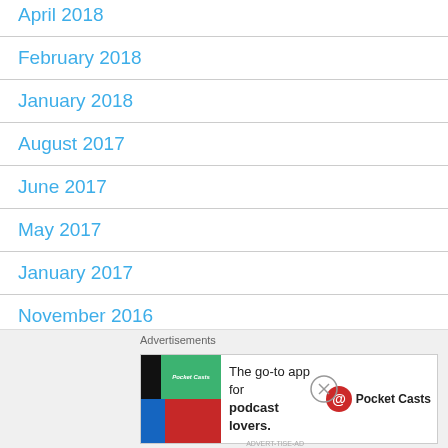April 2018
February 2018
January 2018
August 2017
June 2017
May 2017
January 2017
November 2016
August 2016
[Figure (screenshot): Advertisement banner for Pocket Casts app: 'The go-to app for podcast lovers.' with Pocket Casts logo]